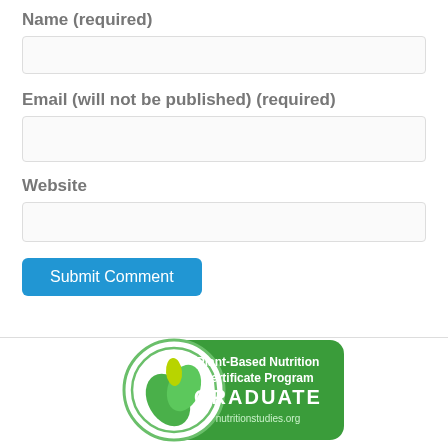Name (required)
Email (will not be published) (required)
Website
Submit Comment
[Figure (logo): Plant-Based Nutrition Certificate Program GRADUATE badge with green leaf logo and nutritionstudies.org URL]